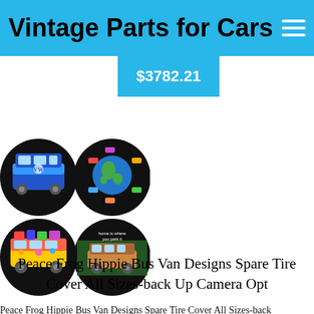Vintage Parts for Cars
$3782.21
[Figure (photo): Four circular spare tire covers on black backgrounds: top-left shows a blue VW hippie bus, top-right shows VW buses arranged around a globe, bottom-left shows a colorful VW bus loaded with luggage, bottom-right shows a VW bus in woods with text 'home is where you park it']
Peace Frog Hippie Bus Van Designs Spare Tire Cover All Sizes-back Up Camera Opt
Peace Frog Hippie Bus Van Designs Spare Tire Cover All Sizes-back